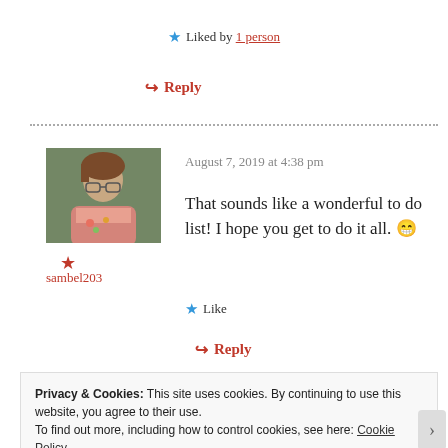Liked by 1 person
Reply
August 7, 2019 at 4:38 pm
That sounds like a wonderful to do list! I hope you get to do it all. 😁
Like
sambel203
Reply
Privacy & Cookies: This site uses cookies. By continuing to use this website, you agree to their use.
To find out more, including how to control cookies, see here: Cookie Policy
Close and accept